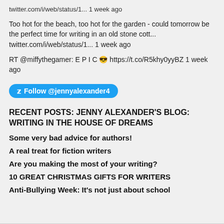twitter.com/i/web/status/1... 1 week ago
Too hot for the beach, too hot for the garden - could tomorrow be the perfect time for writing in an old stone cott... twitter.com/i/web/status/1... 1 week ago
RT @miffythegamer: E P I C 😎 https://t.co/R5khy0yyBZ 1 week ago
[Figure (other): Twitter Follow button: Follow @jennyalexander4]
RECENT POSTS: JENNY ALEXANDER'S BLOG: WRITING IN THE HOUSE OF DREAMS
Some very bad advice for authors!
A real treat for fiction writers
Are you making the most of your writing?
10 GREAT CHRISTMAS GIFTS FOR WRITERS
Anti-Bullying Week: It's not just about school